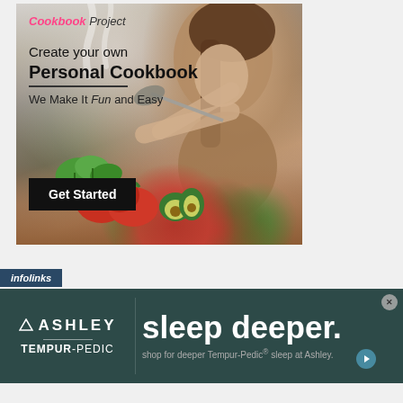[Figure (illustration): Cookbook Project advertisement banner. Shows a woman cooking with steam rising from a pan, surrounded by fresh vegetables including tomatoes, avocado, and greens. Text overlay reads: Cookbook Project (logo), Create your own Personal Cookbook, We Make It Fun and Easy, with a black Get Started button.]
[Figure (illustration): Ashley Furniture / Tempur-Pedic advertisement banner on dark teal background. Left side shows Ashley logo with diamond shape and Tempur-Pedic text. Right side shows large text 'sleep deeper.' with subtext 'shop for deeper Tempur-Pedic® sleep at Ashley.' An infolinks tab appears at top left, close button at top right, and play button icon at bottom right.]